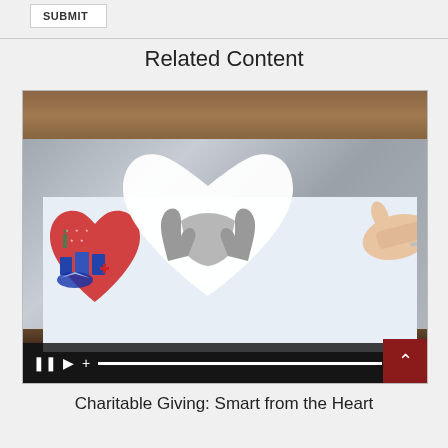SUBMIT
Related Content
[Figure (screenshot): Video player showing a tablet being touched by a hand, with a white heart icon containing cupped hands overlaid on an American-themed heart collage. Video controls bar shows pause, play, plus buttons, progress bar, and timestamp 1:10. A dark red expand/collapse arrow box appears in bottom right corner.]
Charitable Giving: Smart from the Heart